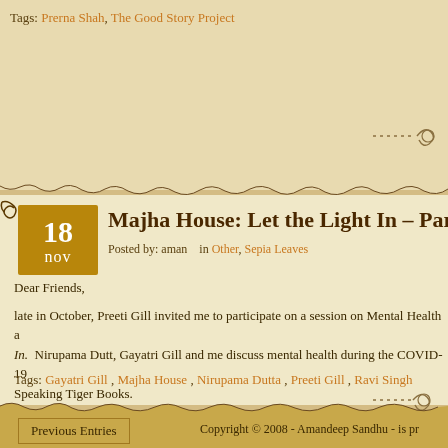Tags: Prerna Shah, The Good Story Project
Majha House: Let the Light In – Part 2
Posted by: aman   in Other, Sepia Leaves
Dear Friends,
late in October, Preeti Gill invited me to participate on a session on Mental Health a... In.  Nirupama Dutt, Gayatri Gill and me discuss mental health during the COVID-19... Speaking Tiger Books.
Please listen here …
Tags: Gayatri Gill , Majha House , Nirupama Dutta , Preeti Gill , Ravi Singh
Previous Entries
Copyright © 2008 - Amandeep Sandhu - is pr